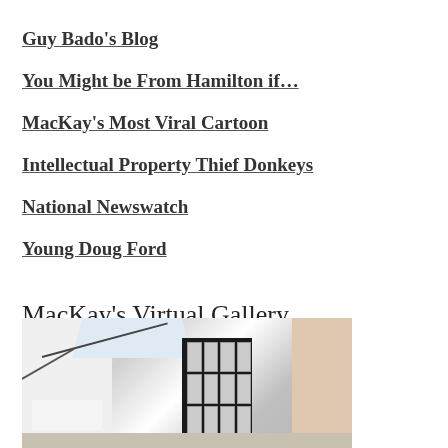Guy Bado's Blog
You Might be From Hamilton if…
MacKay's Most Viral Cartoon
Intellectual Property Thief Donkeys
National Newswatch
Young Doug Ford
MacKay's Virtual Gallery
[Figure (photo): Interior of a virtual art gallery showing a dark central display pillar with multiple framed cartoon images arranged in a grid, white gallery walls with skylights, a rail system on the ceiling, artworks on side walls, and gallery label boards.]